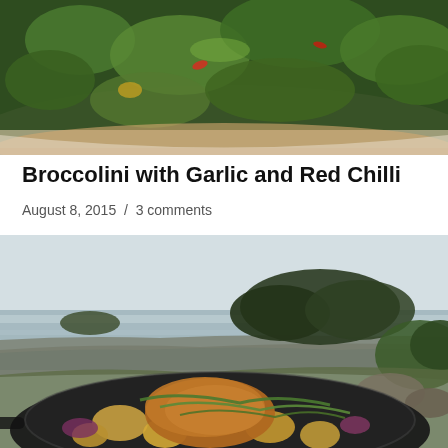[Figure (photo): Close-up photo of broccolini with garlic and red chilli in a bowl]
Broccolini with Garlic and Red Chilli
August 8, 2015  /  3 comments
[Figure (photo): Outdoor coastal scene with a cast iron skillet containing chicken with potatoes, herbs and vegetables, rocky shoreline and forested island in background]